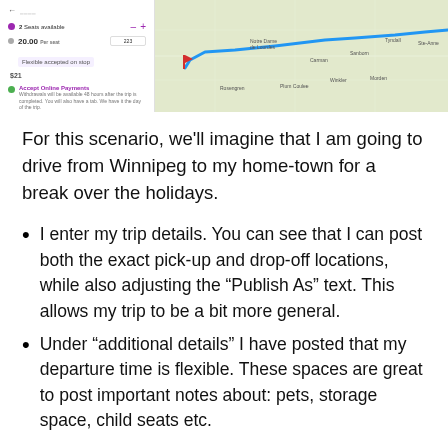[Figure (screenshot): Screenshot of a ride-sharing app showing trip details on the left (2 seats available, 20.00 per seat, flexible payment options, accept online payments section) and a map on the right showing a route from Winnipeg area heading east, with a red flag marker and a blue route line.]
For this scenario, we'll imagine that I am going to drive from Winnipeg to my home-town for a break over the holidays.
I enter my trip details. You can see that I can post both the exact pick-up and drop-off locations, while also adjusting the “Publish As” text. This allows my trip to be a bit more general.
Under “additional details” I have posted that my departure time is flexible. These spaces are great to post important notes about: pets, storage space, child seats etc.